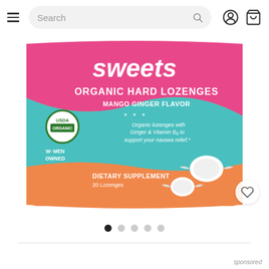Search bar with hamburger menu, user icon, and cart icon
[Figure (photo): Product image of 'Sweets Organic Hard Lozenges Mango Ginger Flavor' dietary supplement packaging. Pink and orange bag with teal/turquoise accent, USDA Organic seal, Women Owned badge, 20 Lozenges. Features two hard candy illustrations.]
[Figure (other): Carousel pagination dots: 5 dots, first one filled/active (black), rest empty (gray)]
sponsored